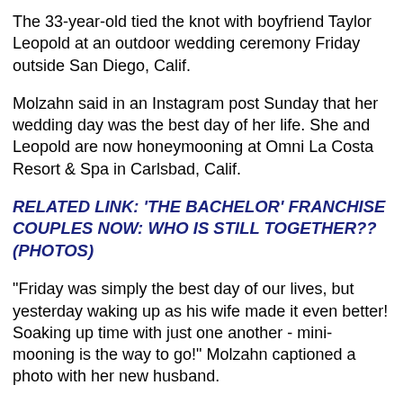The 33-year-old tied the knot with boyfriend Taylor Leopold at an outdoor wedding ceremony Friday outside San Diego, Calif.
Molzahn said in an Instagram post Sunday that her wedding day was the best day of her life. She and Leopold are now honeymooning at Omni La Costa Resort & Spa in Carlsbad, Calif.
RELATED LINK: 'THE BACHELOR' FRANCHISE COUPLES NOW: WHO IS STILL TOGETHER?? (PHOTOS)
"Friday was simply the best day of our lives, but yesterday waking up as his wife made it even better! Soaking up time with just one another - mini-mooning is the way to go!" Molzahn captioned a photo with her new husband.